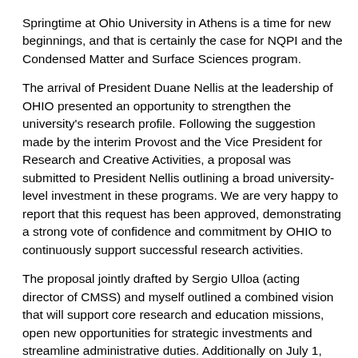Springtime at Ohio University in Athens is a time for new beginnings, and that is certainly the case for NQPI and the Condensed Matter and Surface Sciences program.
The arrival of President Duane Nellis at the leadership of OHIO presented an opportunity to strengthen the university's research profile. Following the suggestion made by the interim Provost and the Vice President for Research and Creative Activities, a proposal was submitted to President Nellis outlining a broad university-level investment in these programs. We are very happy to report that this request has been approved, demonstrating a strong vote of confidence and commitment by OHIO to continuously support successful research activities.
The proposal jointly drafted by Sergio Ulloa (acting director of CMSS) and myself outlined a combined vision that will support core research and education missions, open new opportunities for strategic investments and streamline administrative duties. Additionally on July 1, 2018, the oversight of CMSS/NQPI will be transferred from the College of Arts & Sciences to the office of the Vice President for Research & Creative Activity, reflecting the truly multi-disciplinary composition of our membership.